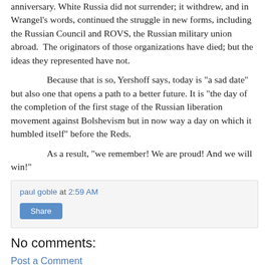anniversary. White Russia did not surrender; it withdrew, and in Wrangel’s words, continued the struggle in new forms, including the Russian Council and ROVS, the Russian military union abroad. The originators of those organizations have died; but the ideas they represented have not.
Because that is so, Yershoff says, today is “a sad date” but also one that opens a path to a better future. It is “the day of the completion of the first stage of the Russian liberation movement against Bolshevism but in now way a day on which it humbled itself” before the Reds.
As a result, “we remember! We are proud! And we will win!”
paul goble at 2:59 AM
Share
No comments:
Post a Comment